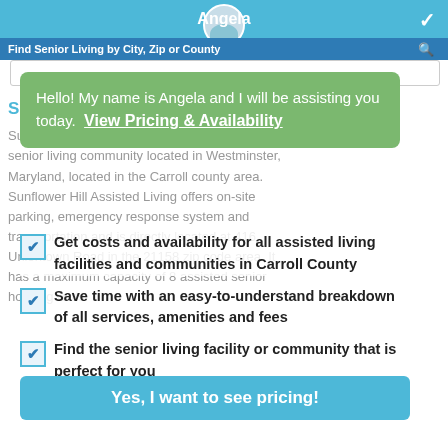Angela — Find Senior Living by City, Zip or County
Hello! My name is Angela and I will be assisting you today. View Pricing & Availability
SUNFLOWER HILL ASSISTED LIVING
Sunflower Hill Assisted Living is a senior living community located in Westminster, Maryland, located in the Carroll county area. Sunflower Hill Assisted Living offers on-site parking, emergency response system and transportation and is directly located at 416 Uniontown Road in the 21158 zip code area. It has a maximum capacity of 8 assisted senior housing units.
Get costs and availability for all assisted living facilities and communities in Carroll County
Save time with an easy-to-understand breakdown of all services, amenities and fees
Find the senior living facility or community that is perfect for you
Yes, I want to see pricing!